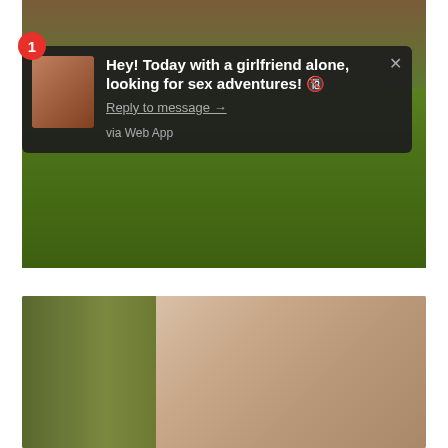[Figure (photo): Outdoor photo showing grass and ground, with a notification overlay. A smartphone-style push notification appears on top of the image showing a message about meeting up.]
Hey! Today with a girlfriend alone, looking for sex adventures! 🔞
Reply to message →
via Web App
[Figure (photo): Outdoor photo showing grass and skin/body, taken outdoors in a natural setting.]